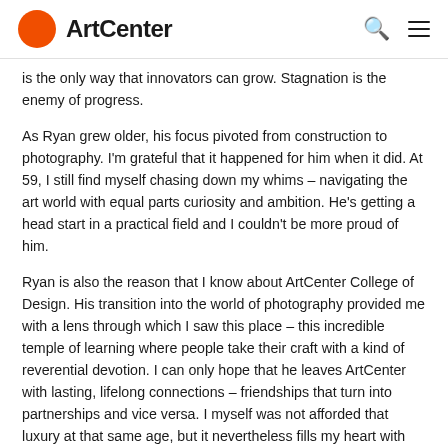ArtCenter
is the only way that innovators can grow. Stagnation is the enemy of progress.
As Ryan grew older, his focus pivoted from construction to photography. I'm grateful that it happened for him when it did. At 59, I still find myself chasing down my whims – navigating the art world with equal parts curiosity and ambition. He's getting a head start in a practical field and I couldn't be more proud of him.
Ryan is also the reason that I know about ArtCenter College of Design. His transition into the world of photography provided me with a lens through which I saw this place – this incredible temple of learning where people take their craft with a kind of reverential devotion. I can only hope that he leaves ArtCenter with lasting, lifelong connections – friendships that turn into partnerships and vice versa. I myself was not afforded that luxury at that same age, but it nevertheless fills my heart with contentment in knowing that